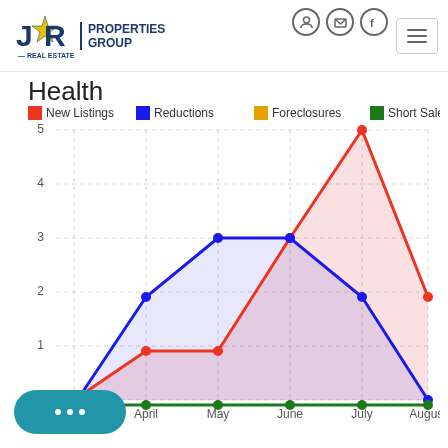[Figure (logo): JPR Star Real Estate Properties Group logo with blue star and text]
Health
[Figure (line-chart): Health]